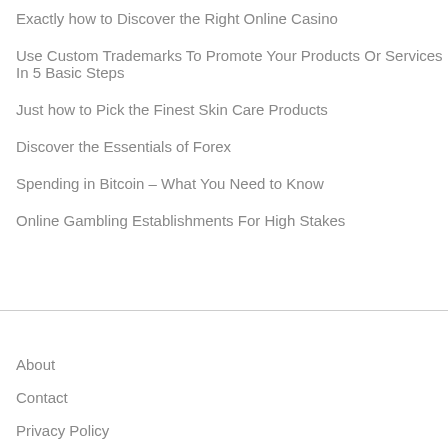Exactly how to Discover the Right Online Casino
Use Custom Trademarks To Promote Your Products Or Services In 5 Basic Steps
Just how to Pick the Finest Skin Care Products
Discover the Essentials of Forex
Spending in Bitcoin – What You Need to Know
Online Gambling Establishments For High Stakes
About
Contact
Privacy Policy